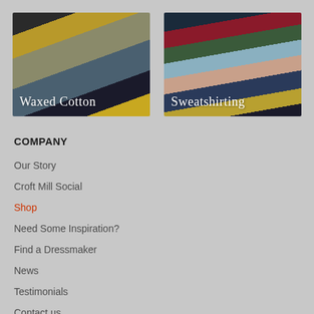[Figure (photo): Stack of folded fabrics in yellow, grey, olive, dark navy colors with label 'Waxed Cotton']
[Figure (photo): Stack of rolled/folded sweatshirting fabrics in navy, crimson, olive, light blue, peach colors with label 'Sweatshirting']
COMPANY
Our Story
Croft Mill Social
Shop
Need Some Inspiration?
Find a Dressmaker
News
Testimonials
Contact us